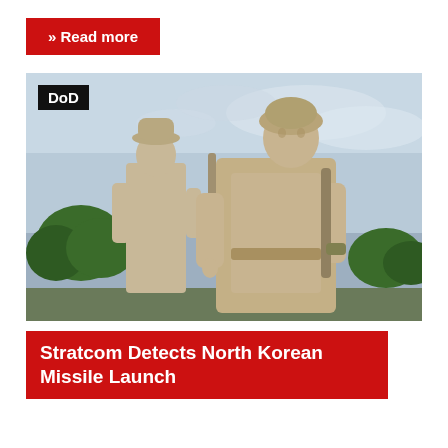» Read more
[Figure (photo): Two stone/concrete military statues of soldiers, one wearing a helmet and cape holding a rifle, the other in a cap, photographed against a cloudy sky with trees in background. Labeled 'DoD' in top-left corner overlay.]
Stratcom Detects North Korean Missile Launch